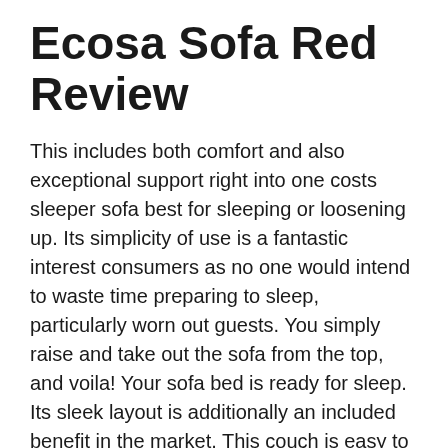Ecosa Sofa Red Review
This includes both comfort and also exceptional support right into one costs sleeper sofa best for sleeping or loosening up. Its simplicity of use is a fantastic interest consumers as no one would intend to waste time preparing to sleep, particularly worn out guests. You simply raise and take out the sofa from the top, and voila! Your sofa bed is ready for sleep. Its sleek layout is additionally an included benefit in the market. This couch is easy to put together as well as is made from recycled plastics, so not just are you doing yourself a favour, yet you're likewise aiding the globe.